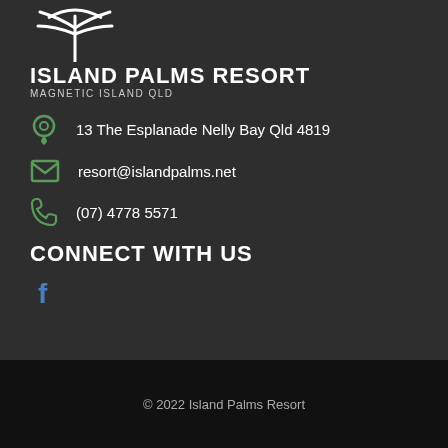[Figure (logo): Island Palms Resort logo with palm tree icon]
ISLAND PALMS RESORT
MAGNETIC ISLAND QLD
13 The Esplanade Nelly Bay Qld 4819
resort@islandpalms.net
(07) 4778 5571
CONNECT WITH US
[Figure (logo): Facebook icon]
© 2022 Island Palms Resort